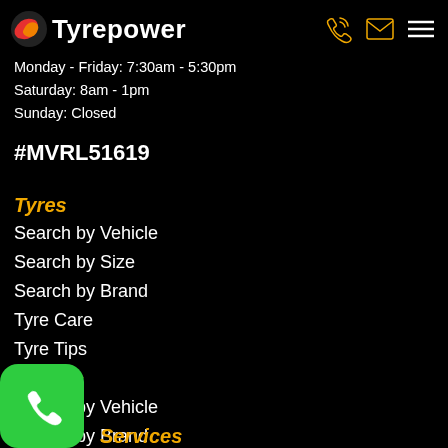Tyrepower
Monday - Friday: 7:30am - 5:30pm
Saturday: 8am - 1pm
Sunday: Closed
#MVRL51619
Tyres
Search by Vehicle
Search by Size
Search by Brand
Tyre Care
Tyre Tips
Wheels
Search by Vehicle
Search by Brand
Services